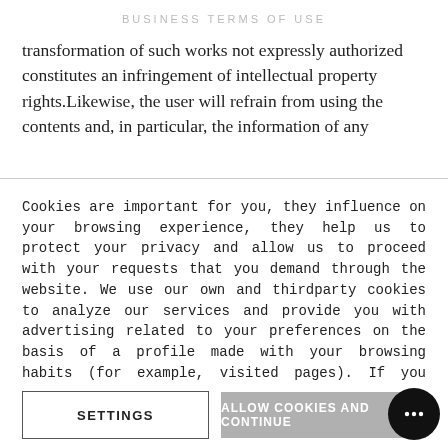BUSINESS TERMS OF USE
transformation of such works not expressly authorized constitutes an infringement of intellectual property rights.Likewise, the user will refrain from using the contents and, in particular, the information of any
Cookies are important for you, they influence on your browsing experience, they help us to protect your privacy and allow us to proceed with your requests that you demand through the website. We use our own and thirdparty cookies to analyze our services and provide you with advertising related to your preferences on the basis of a profile made with your browsing habits (for example, visited pages). If you consent to its installation, click on 'Accept Cookies', or you can also set your preferences by pressing 'Cookie settings'. More information in our Cookies Policy.
SETTINGS
ALLOW COOKIES AND CONTINUE